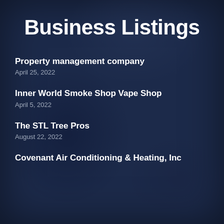Business Listings
Property management company
April 25, 2022
Inner World Smoke Shop Vape Shop
April 5, 2022
The STL Tree Pros
August 22, 2022
Covenant Air Conditioning & Heating, Inc